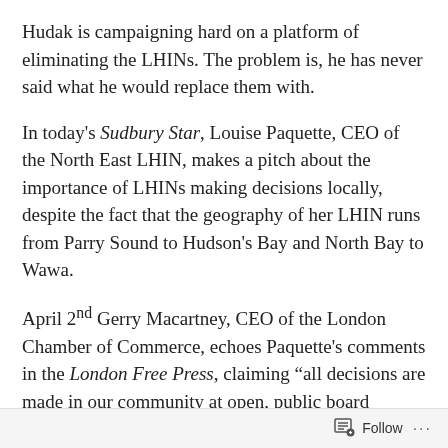Hudak is campaigning hard on a platform of eliminating the LHINs. The problem is, he has never said what he would replace them with.
In today's Sudbury Star, Louise Paquette, CEO of the North East LHIN, makes a pitch about the importance of LHINs making decisions locally, despite the fact that the geography of her LHIN runs from Parry Sound to Hudson's Bay and North Bay to Wawa.
April 2nd Gerry Macartney, CEO of the London Chamber of Commerce, echoes Paquette's comments in the London Free Press, claiming “all decisions are made in our community at open, public board meetings.”
Macartney met with the South West LHIN’s CEO Michael
Follow ...